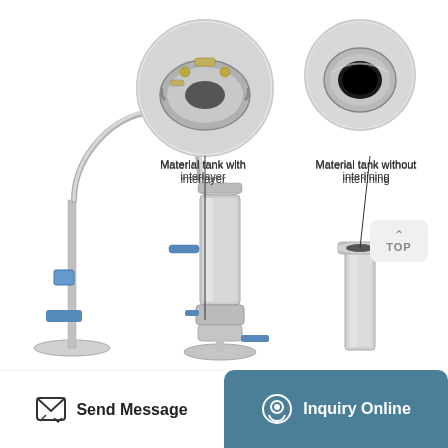[Figure (photo): Product photo showing a stainless steel extraction/distillation apparatus with flexible hose, valves, and cylindrical material tank. Also includes two circular inset photos: one showing the material tank with interlayer (top view with fittings visible) and one showing the material tank without interlining (open tube end). Lines connect the inset images to the main apparatus. A 'TOP' navigation button is shown at the right. Caption labels read 'Material tank with interlayer' and 'Material tank without interlining'.]
Material tank with interlayer
Material tank without interlining
Send Message
Inquiry Online